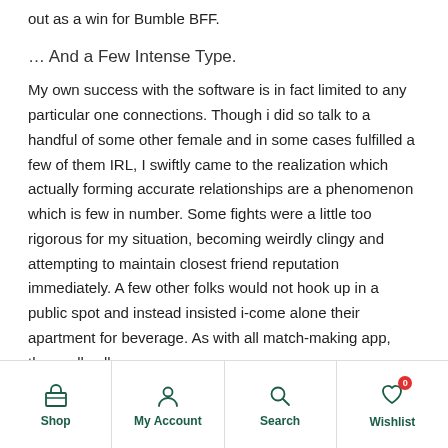out as a win for Bumble BFF.
… And a Few Intense Type.
My own success with the software is in fact limited to any particular one connections. Though i did so talk to a handful of some other female and in some cases fulfilled a few of them IRL, I swiftly came to the realization which actually forming accurate relationships are a phenomenon which is few in number. Some fights were a little too rigorous for my situation, becoming weirdly clingy and attempting to maintain closest friend reputation immediately. A few other folks would not hook up in a public spot and instead insisted i-come alone their apartment for beverage. As with all match-making app, they pulls all
Shop   My Account   Search   Wishlist